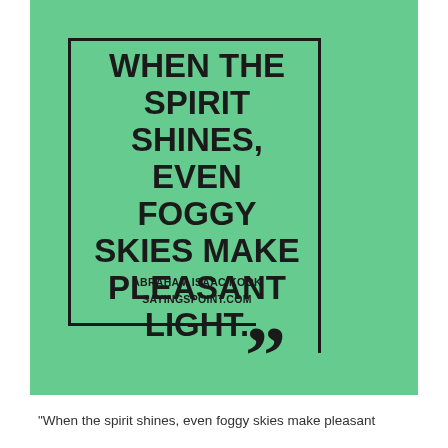[Figure (illustration): Inspirational quote graphic with mint/seafoam green background, partial border rectangle, large bold uppercase quote text, attribution, and large closing quotation marks]
"When the spirit shines, even foggy skies make pleasant